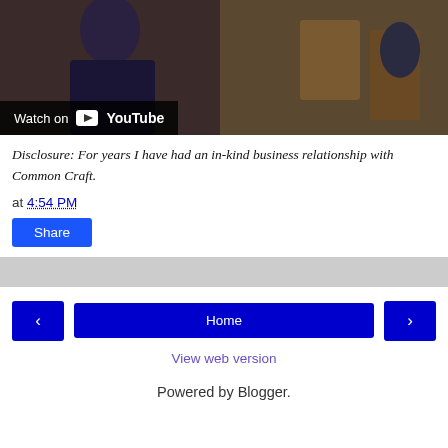[Figure (screenshot): YouTube video thumbnail showing a person in a dark shirt. Overlay at bottom left shows 'Watch on YouTube' with YouTube icon.]
Disclosure: For years I have had an in-kind business relationship with Common Craft.
at 4:54 PM
Share
< Home >
View web version
Powered by Blogger.